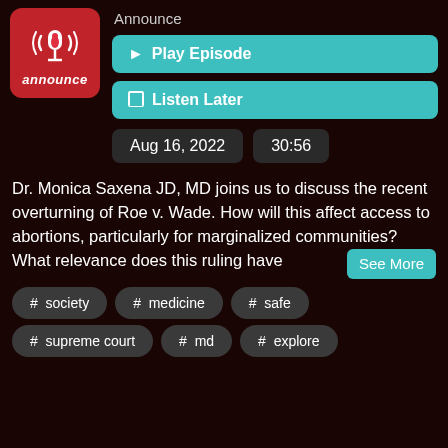[Figure (logo): Red podcast logo with radio wave icon and 'announce' text]
Announce
▶ Play Episode
☐ Listen Later
Aug 16, 2022    30:56
Dr. Monica Saxena JD, MD joins us to discuss the recent overturning of Roe v. Wade. How will this affect access to abortions, particularly for marginalized communities? What relevance does this ruling have
See More
# society
# medicine
# safe
# supreme court
# md
# explore